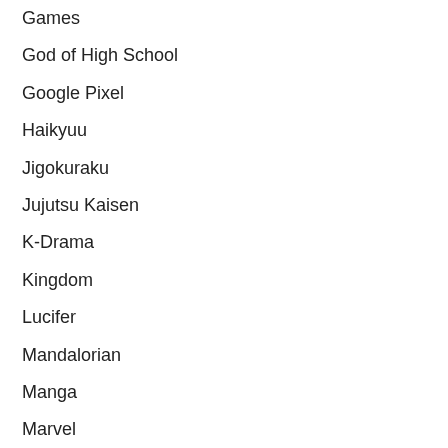Games
God of High School
Google Pixel
Haikyuu
Jigokuraku
Jujutsu Kaisen
K-Drama
Kingdom
Lucifer
Mandalorian
Manga
Marvel
Marvel Avengers
MCU Phase 4
Mirzapur